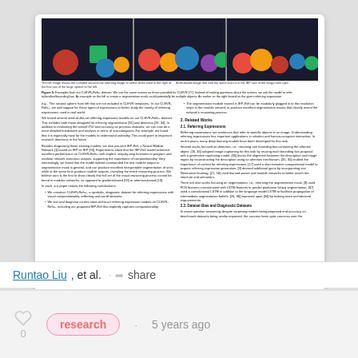[Figure (photo): Three-panel image from CLEVR dataset showing colored 3D objects (spheres, cubes, cylinders) on a surface, used as examples for referring expression tasks.]
Figure 5: Examples from our CLEVR-Refs+ dataset. We use the same scenes as those provided for CLEVR [77]. Instead of making questions about the scenes, we ask the model to refer to/localize/bounding box. An example on the left to create a segmentation mask could potentially be multiple objects. An earlier on the right based on the given referring expression.
e.g., 'The second sphere from left that are not included in CLEVR templates.' In our CLEVR-Refs+, we add support for these types of expressions to better study the variety of referring expressions used in real world.
We tested several state-of-the-art referring expression models on our CLEVR-Refs+ dataset. This includes both those designed for inferring segmentation [31] and detection [26, 34]. In addition to evaluating the overall IOU and accuracy as previous datasets, we can now do a more detailed breakdown and analysis in terms of sub-categories. For example, we found that it is especially hard for the models to understand ordinality. This could point to important research directions in the future.
Besides diagnosing these existing models, we also pre-sent IEP-Ref, a Neural Module Network [1] based on IEP on IEP [94]. Experiments show that the IEP-Ref model achieved excellent performance on CLEVR-Refs+ with explicit, step-by-step functions to program and modular network execution outputs, supporting the importance of compositionality. Very interestingly, we found that the model indeed commanded the test module output to segmentation mask is general, and can produce excellent interpretable segmentation of units while at the same time produce module outputs, revealing the entire reasoning process. We believe ours is the first to show clearly that full set of the visual reasoning process cannot be found in modular networks, as opposed to gradient-based [59] or attention-based [13].
We construct CLEVR-Refs+, a symbolic, diagnostic dataset for referring expressions with visual compositionality, reflecting real-world datasets.
We test and diagnose current state-of-the-art referring expression models on CLEVR-Refs+, including our proposed IEP-Ref that explicitly captures compositionality.
The segmentation module trained in IEP-Ref can be modularly plugged in to the resolution steps in the module network to produce excellent segmentation masks that closely reveal the network's reasoning process.
2. Related Works
2.1. Referring Expressions
Referring expressions are sentences that refer to specific objects in an image. Understanding referring expressions has important applications in robotics and human-computer interaction. In recent years, many deep learning models have been developed for this task.
Several works focused on detection, i.e., returning one bounding box containing the referred object. [26, 34] adapted image captioning for this task by reusing each bounding box proposal with a generative captioning model. [35] learns the alignment between the description and image region by reconstructing the description using an attention mechanism. [31, 35] studied the importance of context for referring expressions. [17] used a discriminative compositional model to acquire referring expression generation. [9] devised additional gains by incorporating into Generative learning. [21, 56] used learned parser and module networks to better match the structure and semantics.
There are also works focusing on segmentation, i.e., returning the segmentation mask. [3] used FCN features concatenated with LSTM features to predict pixel-wise binary segmentation. [37] used a convolutional LSTM in addition to the language model LSTM to facilitate propagation of intermediate segmentation beliefs. [26, 36] improved upon [34] by making more architectural improvements.
2.2. Dataset Bias and Diagnostic Datasets
In visual question answering, despite surprising models being proposed and accuracy on benchmark datasets being similar improved, the success been optic concerns over the